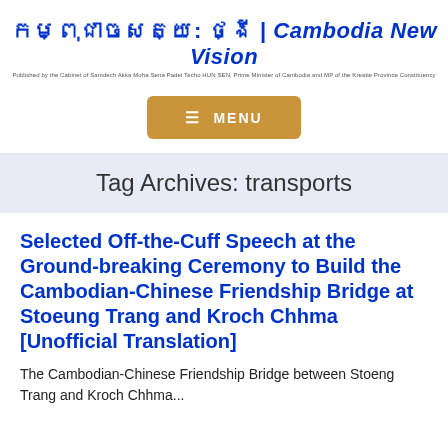កម្ពុជាចសត្យ: ថ្ងី | Cambodia New Vision
Published by the Cabinet of Samdech Akka Moha Sena Padei Techo HUN SEN, Prime Minister of Cambodia and MP of the Kreatie Province Constituency
[Figure (other): Menu button with hamburger icon and text MENU on gold/tan background]
Tag Archives: transports
Selected Off-the-Cuff Speech at the Ground-breaking Ceremony to Build the Cambodian-Chinese Friendship Bridge at Stoeung Trang and Kroch Chhma [Unofficial Translation]
The Cambodian-Chinese Friendship Bridge between Stoeng Trang and Kroch Chhma...